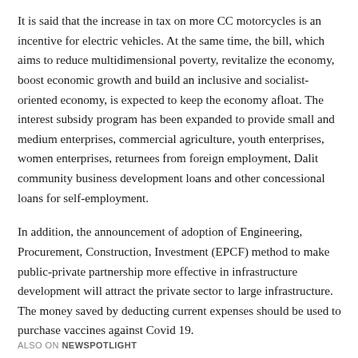It is said that the increase in tax on more CC motorcycles is an incentive for electric vehicles. At the same time, the bill, which aims to reduce multidimensional poverty, revitalize the economy, boost economic growth and build an inclusive and socialist-oriented economy, is expected to keep the economy afloat. The interest subsidy program has been expanded to provide small and medium enterprises, commercial agriculture, youth enterprises, women enterprises, returnees from foreign employment, Dalit community business development loans and other concessional loans for self-employment.
In addition, the announcement of adoption of Engineering, Procurement, Construction, Investment (EPCF) method to make public-private partnership more effective in infrastructure development will attract the private sector to large infrastructure. The money saved by deducting current expenses should be used to purchase vaccines against Covid 19.
ALSO ON NEWSPOTLIGHT